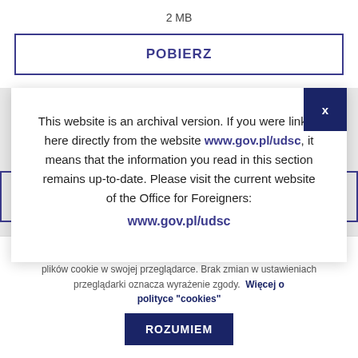2 MB
POBIERZ
This website is an archival version. If you were linked here directly from the website www.gov.pl/udsc, it means that the information you read in this section remains up-to-date. Please visit the current website of the Office for Foreigners: www.gov.pl/udsc
Ta strona używa ciasteczek (cookies). Możesz dokonać zmian w zakresie plików cookie w swojej przeglądarce. Brak zmian w ustawieniach przeglądarki oznacza wyrażenie zgody. Więcej o polityce "cookies"
ROZUMIEM